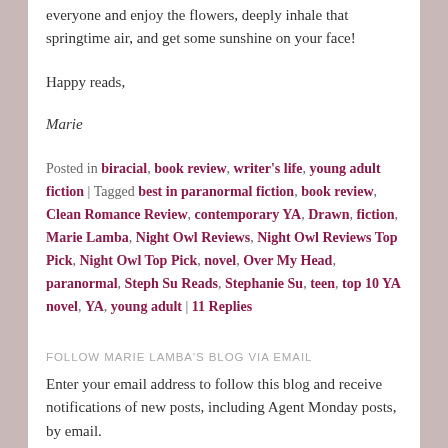everyone and enjoy the flowers, deeply inhale that springtime air, and get some sunshine on your face!
Happy reads,
Marie
Posted in biracial, book review, writer's life, young adult fiction | Tagged best in paranormal fiction, book review, Clean Romance Review, contemporary YA, Drawn, fiction, Marie Lamba, Night Owl Reviews, Night Owl Reviews Top Pick, Night Owl Top Pick, novel, Over My Head, paranormal, Steph Su Reads, Stephanie Su, teen, top 10 YA novel, YA, young adult | 11 Replies
FOLLOW MARIE LAMBA'S BLOG VIA EMAIL
Enter your email address to follow this blog and receive notifications of new posts, including Agent Monday posts, by email.